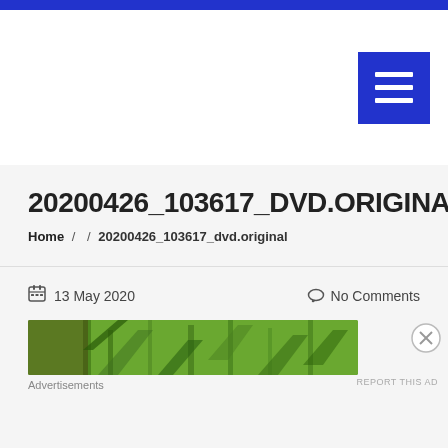20200426_103617_DVD.ORIGINAL
Home / / 20200426_103617_dvd.original
13 May 2020    No Comments
[Figure (photo): Partial view of outdoor scene with green trees/foliage and what appears to be a wooden structure or bridge]
Advertisements